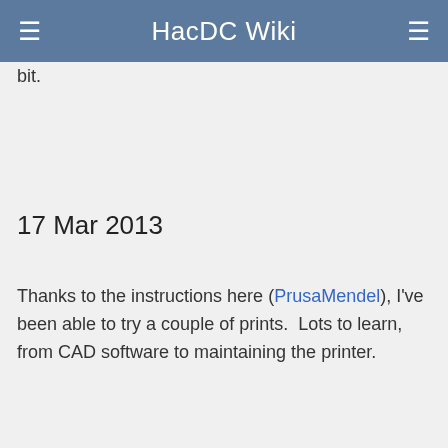HacDC Wiki
bit.
17 Mar 2013
Thanks to the instructions here (PrusaMendel), I've been able to try a couple of prints.  Lots to learn, from CAD software to maintaining the printer.